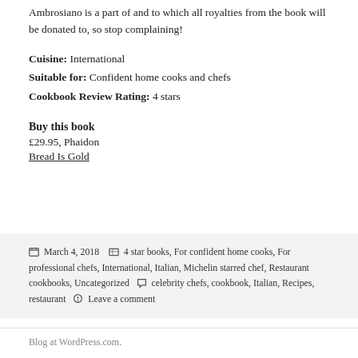Ambrosiano is a part of and to which all royalties from the book will be donated to, so stop complaining!
Cuisine: International
Suitable for: Confident home cooks and chefs
Cookbook Review Rating: 4 stars
Buy this book
£29.95, Phaidon
Bread Is Gold
Posted March 4, 2018  Categories 4 star books, For confident home cooks, For professional chefs, International, Italian, Michelin starred chef, Restaurant cookbooks, Uncategorized  Tags celebrity chefs, cookbook, Italian, Recipes, restaurant  Leave a comment
Blog at WordPress.com.